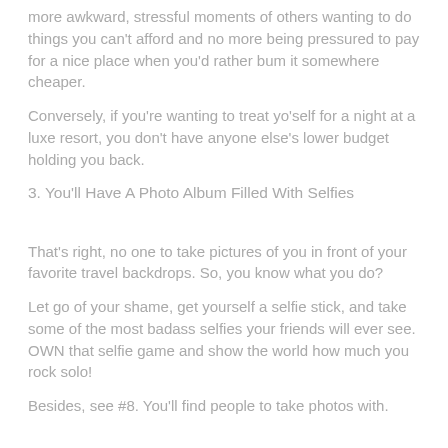more awkward, stressful moments of others wanting to do things you can't afford and no more being pressured to pay for a nice place when you'd rather bum it somewhere cheaper.
Conversely, if you're wanting to treat yo'self for a night at a luxe resort, you don't have anyone else's lower budget holding you back.
3. You'll Have A Photo Album Filled With Selfies
That's right, no one to take pictures of you in front of your favorite travel backdrops. So, you know what you do?
Let go of your shame, get yourself a selfie stick, and take some of the most badass selfies your friends will ever see. OWN that selfie game and show the world how much you rock solo!
Besides, see #8. You'll find people to take photos with.